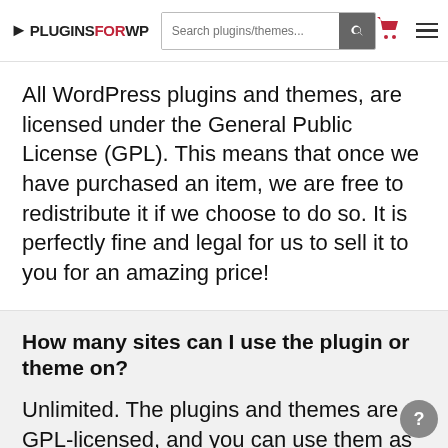PLUGINSFORWP — navigation header with search bar, cart icon, and menu icon
All WordPress plugins and themes, are licensed under the General Public License (GPL). This means that once we have purchased an item, we are free to redistribute it if we choose to do so. It is perfectly fine and legal for us to sell it to you for an amazing price!
How many sites can I use the plugin or theme on?
Unlimited. The plugins and themes are GPL-licensed, and you can use them as often as you need to, on however many...